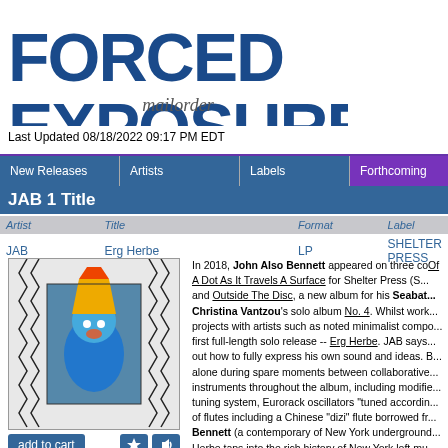[Figure (logo): FORCED EXPOSURE mailorder logo in blue bold stylized font]
Last Updated 08/18/2022 09:17 PM EDT
| New Releases | Artists | Labels | Forthcoming |
| --- | --- | --- | --- |
JAB 1 Title
| Artist | Title | Format | Label |
| --- | --- | --- | --- |
| JAB | Erg Herbe | LP | SHELTER PRESS |
[Figure (photo): Album cover for Erg Herbe by JAB with zigzag line art border and colorful central photo]
add to cart
$21.00
IN STOCK
In 2018, John Also Bennett appeared on three co... Of A Dot As It Travels A Surface for Shelter Press (S... and Outside The Disc, a new album for his Seabat... Christina Vantzou's solo album No. 4. Whilst work... projects with artists such as noted minimalist compo... first full-length solo release -- Erg Herbe. JAB says... out how to fully express his own sound and ideas. B... alone during spare moments between collaborative... instruments throughout the album, including modifie... tuning system, Eurorack oscillators "tuned accordin... of flutes including a Chinese "dizi" flute borrowed fr... Bennett (a contemporary of New York underground... Herbe taps into the rich history of New York loft mu... Gibson, and Pauline Anna Strom as important influ... "Chanterai Por Mon Coraige" derived from the 13th... two flute improvisations upon a theme were recorde... Appropriately "Chanterai Por Mon Coraige" was rec... The title cut "Erg Herbe" features flute recorded ins... the Museum Insel Hombroich in Germany, which u...